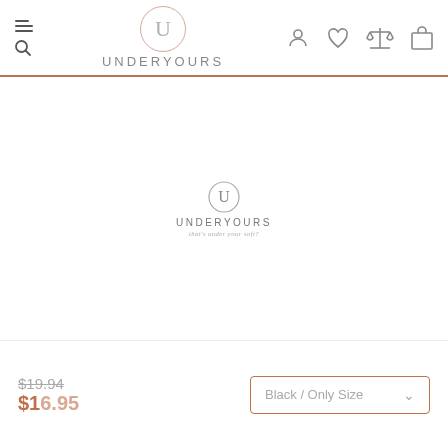UNDERYOURS — navigation header with menu, search, user, wishlist, compare, and cart icons
[Figure (logo): UNDERYOURS brand logo with U in circle and tagline 'that's under your soft?']
$19.94 (strikethrough) $16.95 (sale price) | Black / Only Size dropdown